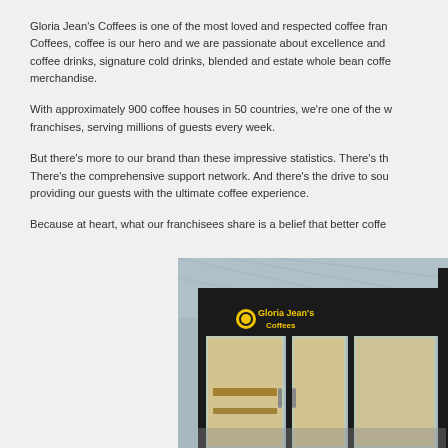Gloria Jean's Coffees is one of the most loved and respected coffee franchises in the world. At Gloria Jean's Coffees, coffee is our hero and we are passionate about excellence and quality in everything we do. From our extensive range of coffee drinks, signature cold drinks, blended and estate whole bean coffees, to our carefully crafted food and branded merchandise.
With approximately 900 coffee houses in 50 countries, we're one of the world's largest and most successful coffee franchises, serving millions of guests every week.
But there's more to our brand than these impressive statistics. There's the passion, the culture and the community involvement. There's the comprehensive support network. And there's the drive to source and roast the world's finest coffees, dedicating ourselves to providing our guests with the ultimate coffee experience.
Because at heart, what our franchisees share is a belief that better coffee makes for a better world.
[Figure (photo): Gloria Jean's Coffees store front with large glass windows and black frame, yellow signage, interior visible with warm lighting, airport or mall setting]